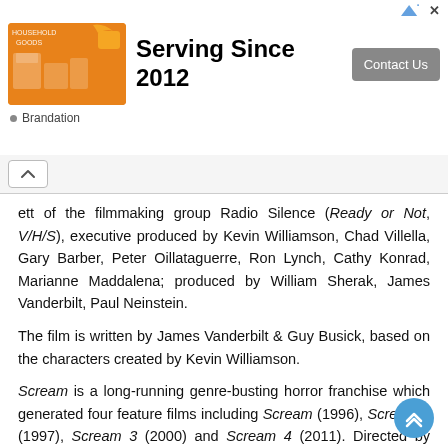[Figure (screenshot): Advertisement banner: orange household goods image on left, 'Serving Since 2012' headline in center, 'Contact Us' button on right. 'Brandation' label below.]
ett of the filmmaking group Radio Silence (Ready or Not, V/H/S), executive produced by Kevin Williamson, Chad Villella, Gary Barber, Peter Oillataguerre, Ron Lynch, Cathy Konrad, Marianne Maddalena; produced by William Sherak, James Vanderbilt, Paul Neinstein.
The film is written by James Vanderbilt & Guy Busick, based on the characters created by Kevin Williamson.
Scream is a long-running genre-busting horror franchise which generated four feature films including Scream (1996), Scream 2 (1997), Scream 3 (2000) and Scream 4 (2011). Directed by famed "maestro of horror," the late Wes Craven, the films went on to gross more than $600 million in worldwide box office receipts. Williamson wrote the original film as well as Scream 2 and Scream 4.